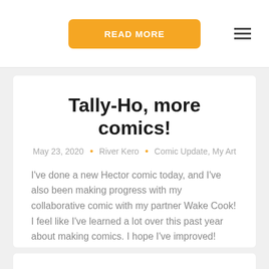READ MORE
Tally-Ho, more comics!
May 23, 2020  •  River Kero  •  Comic Update, My Art
I've done a new Hector comic today, and I've also been making progress with my collaborative comic with my partner Wake Cook! I feel like I've learned a lot over this past year about making comics. I hope I've improved!
READ MORE